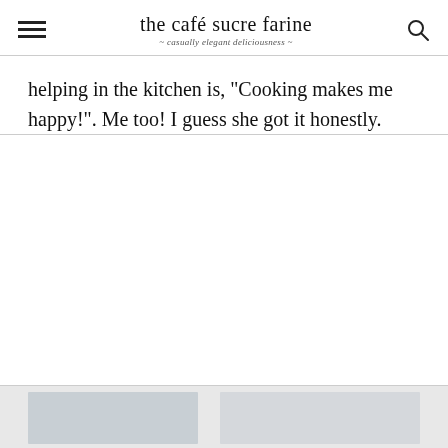the café sucre farine — casually elegant deliciousness
helping in the kitchen is, "Cooking makes me happy!". Me too! I guess she got it honestly.
[Figure (photo): Bottom strip showing two partial food/kitchen photographs]